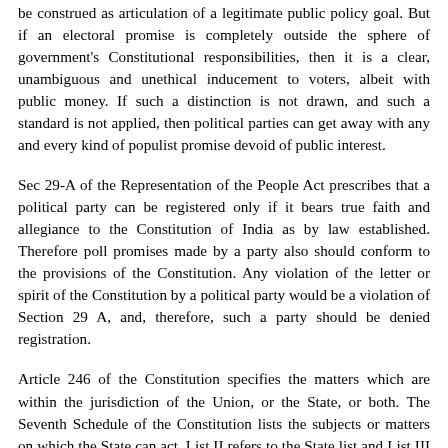be construed as articulation of a legitimate public policy goal. But if an electoral promise is completely outside the sphere of government's Constitutional responsibilities, then it is a clear, unambiguous and unethical inducement to voters, albeit with public money. If such a distinction is not drawn, and such a standard is not applied, then political parties can get away with any and every kind of populist promise devoid of public interest.
Sec 29-A of the Representation of the People Act prescribes that a political party can be registered only if it bears true faith and allegiance to the Constitution of India as by law established. Therefore poll promises made by a party also should conform to the provisions of the Constitution. Any violation of the letter or spirit of the Constitution by a political party would be a violation of Section 29 A, and, therefore, such a party should be denied registration.
Article 246 of the Constitution specifies the matters which are within the jurisdiction of the Union, or the State, or both. The Seventh Schedule of the Constitution lists the subjects or matters on which the State can act. List II refers to the State list and List III refers to the Concurrent list. The state...